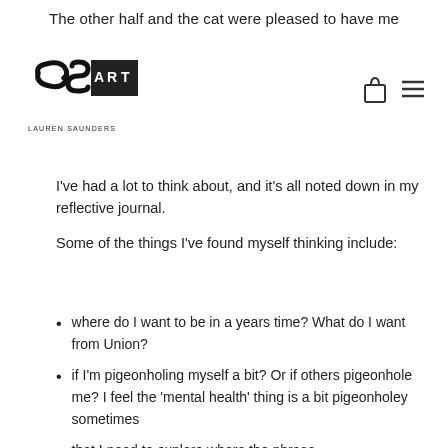The other half and the cat were pleased to have me
[Figure (logo): CSA Art / Lauren Saunders logo with stylized letters CSA and ART in a box, with 'LAUREN SAUNDERS' text below]
[Figure (other): Navigation icons: shopping bag and hamburger menu]
I've had a lot to think about, and it's all noted down in my reflective journal.
Some of the things I've found myself thinking include:
where do I want to be in a years time? What do I want from Union?
if I'm pigeonholing myself a bit? Or if others pigeonhole me? I feel the 'mental health' thing is a bit pigeonholey sometimes
that I need to explore where the phrase